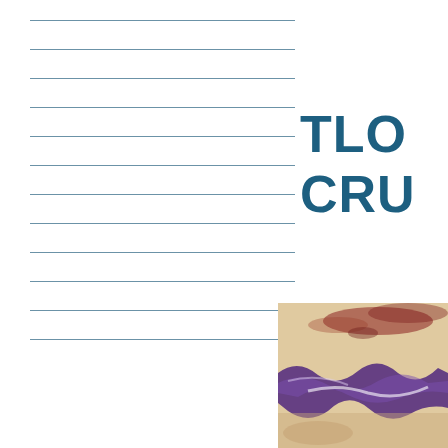[Figure (other): Ruled lines for note-taking (writing lines area on left side of page)]
TLO CRU
[Figure (photo): Close-up photo of paint or artwork with purple, red, and beige/cream colors with textured surface]